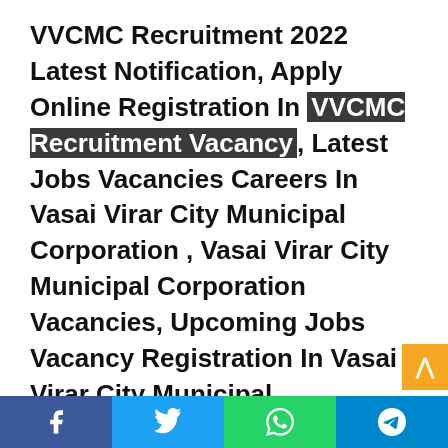VVCMC Recruitment 2022 Latest Notification, Apply Online Registration In VVCMC Recruitment Vacancy, Latest Jobs Vacancies Careers In Vasai Virar City Municipal Corporation , Vasai Virar City Municipal Corporation Vacancies, Upcoming Jobs Vacancy Registration In Vasai Virar City Municipal Corporation , VVCMC Recruitment Online Form Apply Last Date, VVCMC Recruitment Latest News
[Social share bar: Facebook, Twitter, WhatsApp, Telegram]